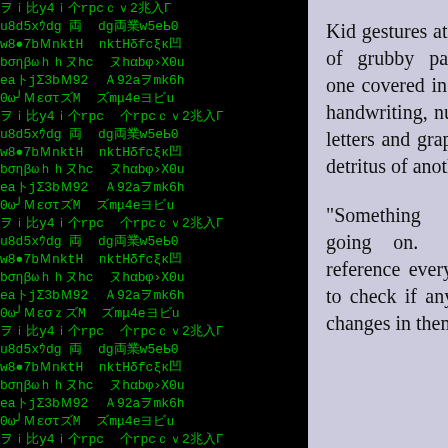[Figure (illustration): Matrix-style green characters on black background, on the left and right sides of the page]
Kid gestures at the bundle of grubby papers, each one covered in his blocky handwriting, numbers and letters and graphs like the detritus of another world.
“Something weird is going on. I cross-reference every broadcast to check if anything ever changes in them, but I